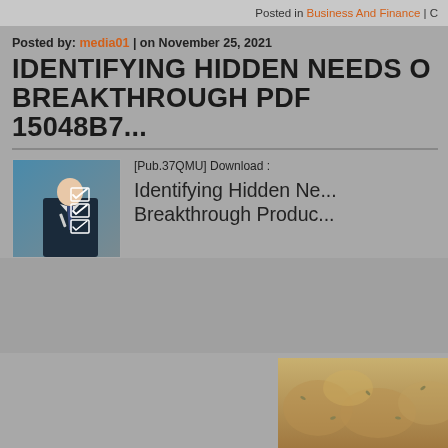Posted in Business And Finance | C
Posted by: media01 | on November 25, 2021
IDENTIFYING HIDDEN NEEDS OF BREAKTHROUGH PDF 15048B7...
[Figure (photo): A businessman in a suit checking boxes on a checklist drawn on glass or a transparent surface]
[Pub.37QMU] Download :
Identifying Hidden Ne... Breakthrough Produc...
[Figure (photo): Partial image of what appears to be bread or baked goods, bottom right corner]